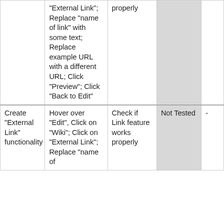|  | "External Link"; Replace "name of link" with some text; Replace example URL with a different URL; Click "Preview"; Click "Back to Edit" | properly | Not Tested | - |
| Create "External Link" functionality | Hover over "Edit", Click on "Wiki"; Click on "External Link"; Replace "name of | Check if Link feature works properly | Not Tested | - |